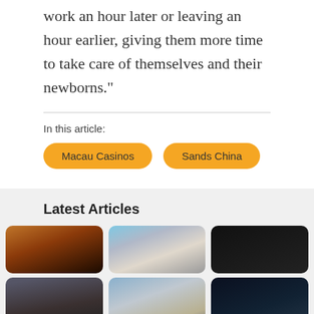work an hour later or leaving an hour earlier, giving them more time to take care of themselves and their newborns."
In this article:
Macau Casinos
Sands China
Latest Articles
[Figure (photo): Three article thumbnail images in a row, partially visible: a dark moody photo of a person with money against an orange sky, a photo of a classical government building with columns, and a dark financial/stock chart image.]
[Figure (photo): Second row of three article thumbnail images, partially visible: sports stadium crowd image, classical building with columns and steps, dark stock market chart.]